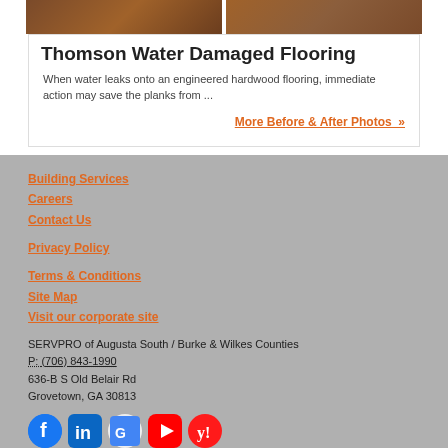[Figure (photo): Two side-by-side photos of water damaged wood flooring]
Thomson Water Damaged Flooring
When water leaks onto an engineered hardwood flooring, immediate action may save the planks from ...
More Before & After Photos »
Building Services
Careers
Contact Us
Privacy Policy
Terms & Conditions
Site Map
Visit our corporate site
SERVPRO of Augusta South / Burke & Wilkes Counties
P: (706) 843-1990
636-B S Old Belair Rd
Grovetown, GA 30813
[Figure (logo): Social media icons: Facebook, LinkedIn, Google, YouTube, Yelp]
© Servpro Industries, LLC. – All services in the U.S. performed by independently owned and operated franchises of Servpro Industries, LLC.